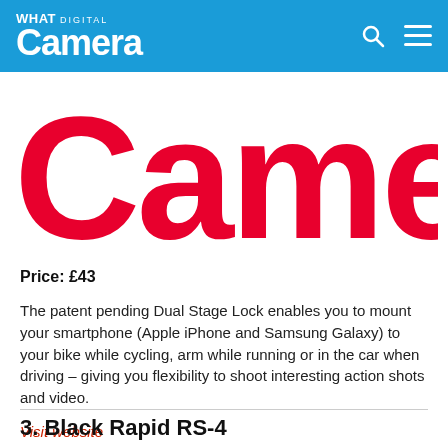What Digital Camera
[Figure (logo): Camera magazine large red logo text]
Price: £43
The patent pending Dual Stage Lock enables you to mount your smartphone (Apple iPhone and Samsung Galaxy) to your bike while cycling, arm while running or in the car when driving – giving you flexibility to shoot interesting action shots and video.
Visit website
3. Black Rapid RS-4